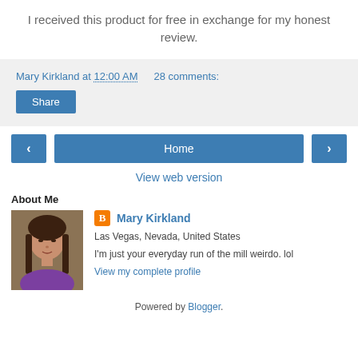I received this product for free in exchange for my honest review.
Mary Kirkland at 12:00 AM   28 comments:
Share
‹   Home   ›
View web version
About Me
[Figure (photo): Profile photo of Mary Kirkland, a woman with long dark hair wearing a purple top]
Mary Kirkland
Las Vegas, Nevada, United States
I'm just your everyday run of the mill weirdo. lol
View my complete profile
Powered by Blogger.